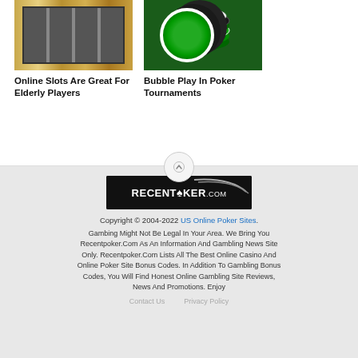[Figure (photo): Photo of slot machines in a casino, golden colored machines in a row]
[Figure (photo): Photo of green poker chips stacked on a green casino table]
Online Slots Are Great For Elderly Players
Bubble Play In Poker Tournaments
[Figure (logo): RecentPoker.com logo — white text on black background with arc swoosh]
Copyright © 2004-2022 US Online Poker Sites. Gambing Might Not Be Legal In Your Area. We Bring You Recentpoker.Com As An Information And Gambling News Site Only. Recentpoker.Com Lists All The Best Online Casino And Online Poker Site Bonus Codes. In Addition To Gambling Bonus Codes, You Will Find Honest Online Gambling Site Reviews, News And Promotions. Enjoy
Contact Us    Privacy Policy